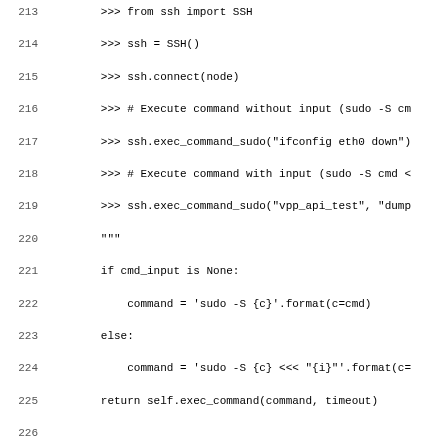Code listing lines 213-244, Python source code showing SSH and LXC command execution methods